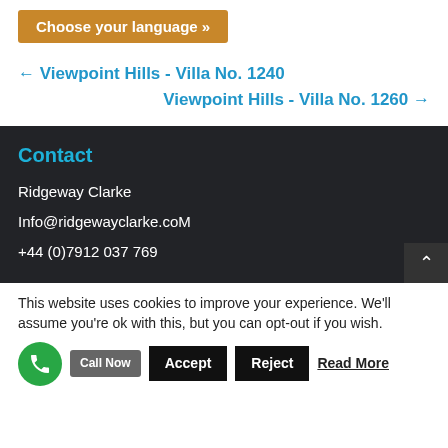Choose your language »
← Viewpoint Hills - Villa No. 1240
Viewpoint Hills - Villa No. 1260 →
Contact
Ridgeway Clarke
Info@ridgewayclarke.coM
+44 (0)7912 037 769
This website uses cookies to improve your experience. We'll assume you're ok with this, but you can opt-out if you wish.
Call Now
Accept
Reject
Read More